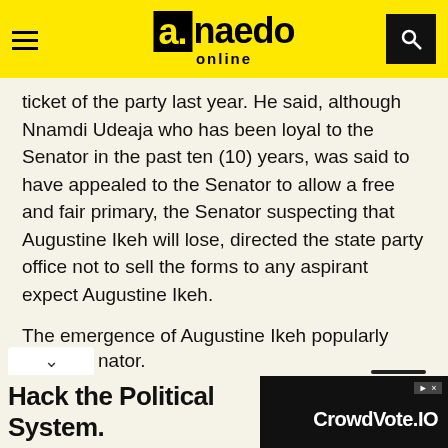a.naedo online
ticket of the party last year. He said, although Nnamdi Udeaja who has been loyal to the Senator in the past ten (10) years, was said to have appealed to the Senator to allow a free and fair primary, the Senator suspecting that Augustine Ikeh will lose, directed the state party office not to sell the forms to any aspirant expect Augustine Ikeh.
The emergence of Augustine Ikeh popularly known as Ikedoji has sharply divided the political camp of Senator Ifeanyi Ubah, as many are angry over what they described as the insensitivity and shallow mindedness of the Senator.
[Figure (other): Advertisement banner: 'Hack the Political System.' with CrowdVote.IO logo on dark background]